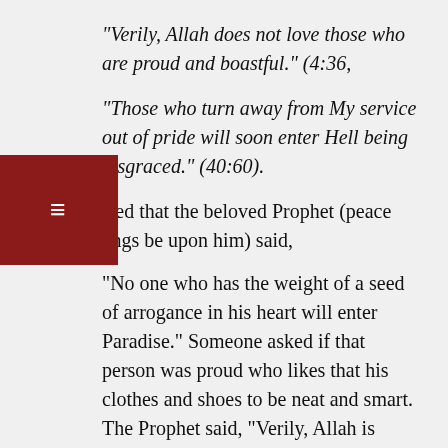“Verily, Allah does not love those who are proud and boastful.” (4:36,
“Those who turn away from My service out of pride will soon enter Hell being disgraced.” (40:60).
It is reported that the beloved Prophet (peace and blessings be upon him) said,
“No one who has the weight of a seed of arrogance in his heart will enter Paradise.” Someone asked if that person was proud who likes that his clothes and shoes to be neat and smart. The Prophet said, “Verily, Allah is beautiful and He loves beauty (This statement means that good clothing